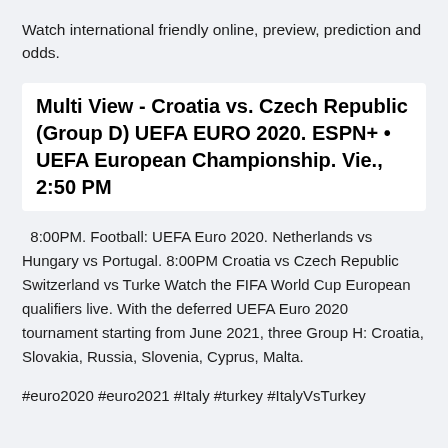Watch international friendly online, preview, prediction and odds.
Multi View - Croatia vs. Czech Republic (Group D) UEFA EURO 2020. ESPN+ • UEFA European Championship. Vie., 2:50 PM
8:00PM. Football: UEFA Euro 2020. Netherlands vs Hungary vs Portugal. 8:00PM Croatia vs Czech Republic Switzerland vs Turke Watch the FIFA World Cup European qualifiers live. With the deferred UEFA Euro 2020 tournament starting from June 2021, three Group H: Croatia, Slovakia, Russia, Slovenia, Cyprus, Malta.
#euro2020 #euro2021 #Italy #turkey #ItalyVsTurkey